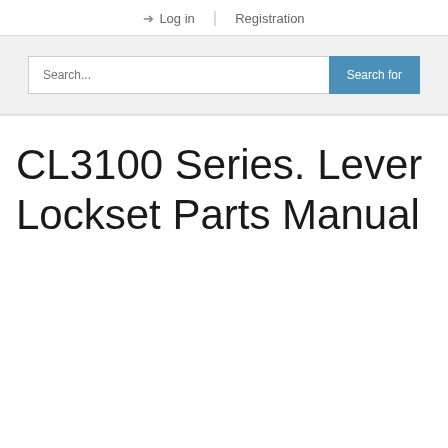Log in | Registration
[Figure (screenshot): Search bar with 'Search...' placeholder text and a blue 'Search for' button]
CL3100 Series. Lever Lockset Parts Manual